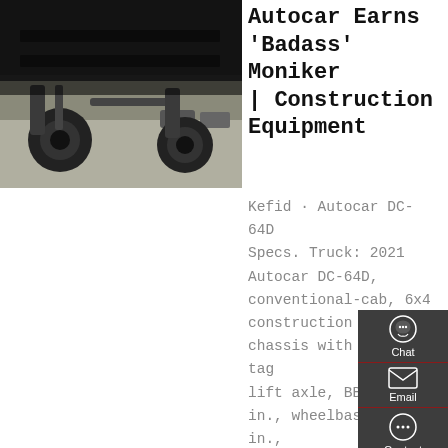[Figure (photo): Underside/undercarriage view of a heavy truck chassis showing axle, frame rails, and mechanical components, with a parking lot and vehicles visible in background]
Autocar Earns 'Badass' Moniker | Construction Equipment
Kefid · Autocar DC-64D Specs. Truck: 2021 Autocar DC-64D, conventional-cab, 6x4 construction dump chassis with pusher-tag lift axle, BBC 112.6 in., wheelbase 210 in., straight frame rails 7/16 in. thick x 11.25 in. high. GVW rating